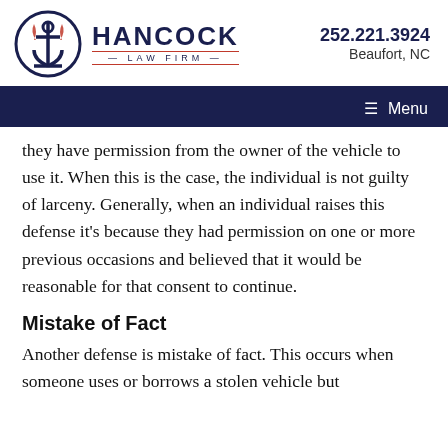[Figure (logo): Hancock Law Firm logo with anchor and phone/location info]
☰ Menu
they have permission from the owner of the vehicle to use it. When this is the case, the individual is not guilty of larceny. Generally, when an individual raises this defense it's because they had permission on one or more previous occasions and believed that it would be reasonable for that consent to continue.
Mistake of Fact
Another defense is mistake of fact. This occurs when someone uses or borrows a stolen vehicle but